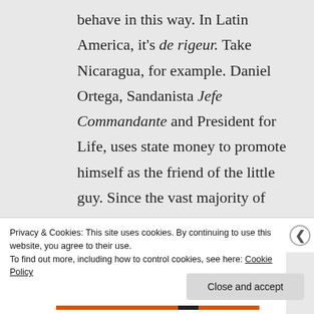behave in this way. In Latin America, it's de rigeur. Take Nicaragua, for example. Daniel Ortega, Sandanista Jefe Commandante and President for Life, uses state money to promote himself as the friend of the little guy. Since the vast majority of Nicaraguan little guys are illiterate,
Privacy & Cookies: This site uses cookies. By continuing to use this website, you agree to their use.
To find out more, including how to control cookies, see here: Cookie Policy
Close and accept